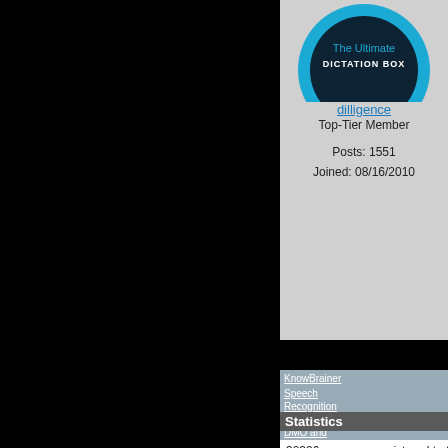[Figure (logo): The Ultimate DICTATION BOX logo - circular badge with dark center and blue border]
dilligence
Top-Tier Member
Posts: 1551
Joined: 08/16/2010
You can dictation executa easily p
Just like (SP Sta the othe
Launch
https:
Turboo produc
KnowBrainer Speech Recognition » DMPE, DMO and EMRs » Statistics dictation-box
Topic Tools
Statistics
32336 users are registered to the KnowBrainer Speech Recognition forum.